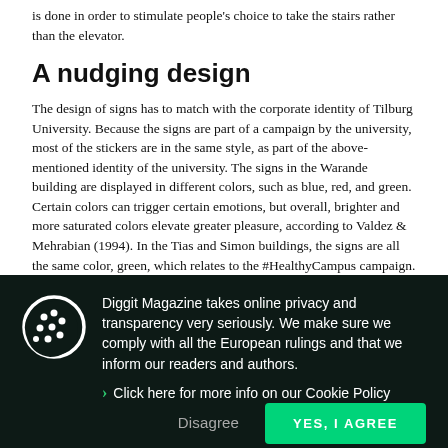is done in order to stimulate people's choice to take the stairs rather than the elevator.
A nudging design
The design of signs has to match with the corporate identity of Tilburg University. Because the signs are part of a campaign by the university, most of the stickers are in the same style, as part of the above-mentioned identity of the university. The signs in the Warande building are displayed in different colors, such as blue, red, and green. Certain colors can trigger certain emotions, but overall, brighter and more saturated colors elevate greater pleasure, according to Valdez & Mehrabian (1994). In the Tias and Simon buildings, the signs are all the same color, green, which relates to the #HealthyCampus campaign. Moreover, all stickers display the Tilburg University
Diggit Magazine takes online privacy and transparency very seriously. We make sure we comply with all the European rulings and that we inform our readers and authors.
Click here for more info on our Cookie Policy
Disagree
YES, I AGREE